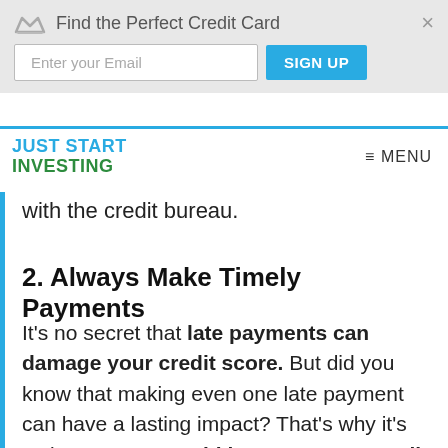[Figure (infographic): Find the Perfect Credit Card banner with email input field, SIGN UP button, and close X button]
JUST START INVESTING  ≡ MENU
with the credit bureau.
2. Always Make Timely Payments
It's no secret that late payments can damage your credit score. But did you know that making even one late payment can have a lasting impact? That's why it's so important to avoid late payments at all costs.